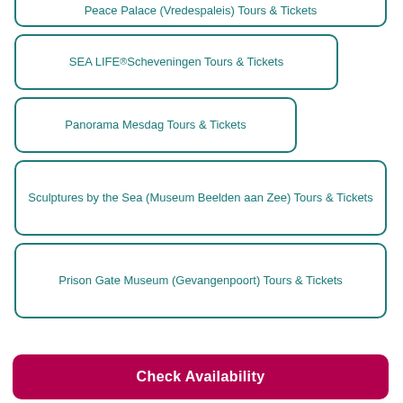Peace Palace (Vredespaleis) Tours & Tickets
SEA LIFE® Scheveningen Tours & Tickets
Panorama Mesdag Tours & Tickets
Sculptures by the Sea (Museum Beelden aan Zee) Tours & Tickets
Prison Gate Museum (Gevangenpoort) Tours & Tickets
Gemeentemuseum Den Haag Tours & Tickets
Royal Delft (Koninklijke Porceleyne Fles) Tours & Tickets
Check Availability